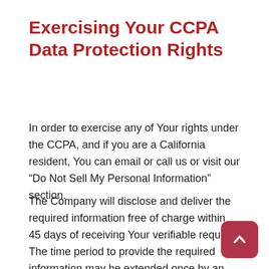Exercising Your CCPA Data Protection Rights
In order to exercise any of Your rights under the CCPA, and if you are a California resident, You can email or call us or visit our “Do Not Sell My Personal Information” section.
The Company will disclose and deliver the required information free of charge within 45 days of receiving Your verifiable request. The time period to provide the required information may be extended once by an additional 45 days when reasonable